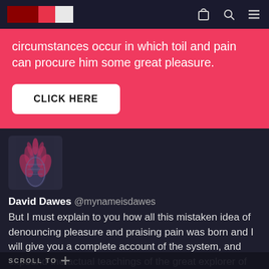circumstances occur in which toil and pain can procure him some great pleasure.
CLICK HERE
[Figure (photo): Close-up photo of a spiky plant or pineapple texture with pink and dark blue tones]
David Dawes @mynameisdawes
But I must explain to you how all this mistaken idea of denouncing pleasure and praising pain was born and I will give you a complete account of the system, and expound the actual teachings of the great explorer of the truth, the master-builder of human happiness. No one rejects, dislikes, or avoids pleasure itself, because it is pleasure, but because
SCROLL TO +